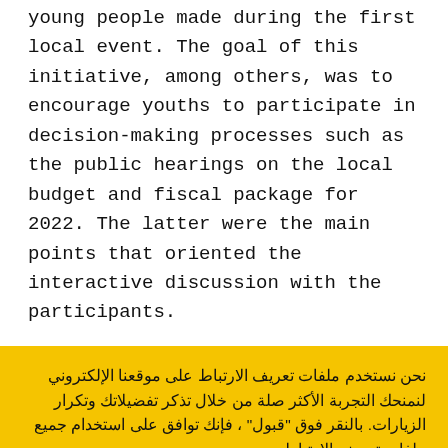young people made during the first local event. The goal of this initiative, among others, was to encourage youths to participate in decision-making processes such as the public hearings on the local budget and fiscal package for 2022. The latter were the main points that oriented the interactive discussion with the participants.
نحن نستخدم ملفات تعريف الارتباط على موقعنا الإلكتروني لنمنحك التجربة الأكثر صلة من خلال تذكر تفضيلاتك وتكرار الزيارات. بالنقر فوق "قبول" ، فإنك توافق على استخدام جميع ملفات تعريف الارتباط.
قبول
إعدادات ملفات تعريف الارتباط